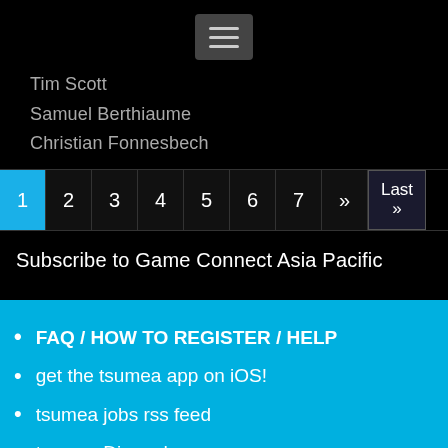[Figure (screenshot): Hamburger menu button (three horizontal lines on dark background)]
Tim Scott
Samuel Berthiaume
Christian Fonnesbech
| 1 | 2 | 3 | 4 | 5 | 6 | 7 | » | Last » |
| --- | --- | --- | --- | --- | --- | --- | --- | --- |
Subscribe to Game Connect Asia Pacific
FAQ / HOW TO REGISTER / HELP
get the tsumea app on iOS!
tsumea jobs rss feed
tsumea Discord